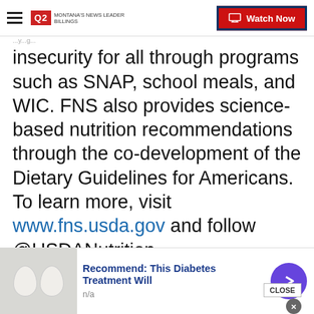Q2 MONTANA'S NEWS LEADER | Watch Now
insecurity for all through programs such as SNAP, school meals, and WIC. FNS also provides science-based nutrition recommendations through the co-development of the Dietary Guidelines for Americans. To learn more, visit www.fns.usda.gov and follow @USDANutrition.
Copyright 2022 Scripps Media, Inc. All rights reserved. This material may not be published, broadcast, rewritten, or redistributed.
Sign up for the The Big Sky Blend
Recommend: This Diabetes Treatment Will
n/a